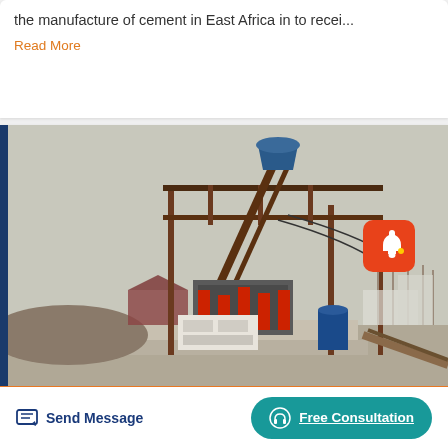the manufacture of cement in East Africa in to recei...
Read More
[Figure (photo): Industrial machinery (crusher/screening equipment) installed on a concrete platform outdoors, with red hydraulic components, steel frame structure, white control box, blue barrel, and conveyor system visible. Rural/industrial setting with bare trees in background.]
Send Message
Free Consultation